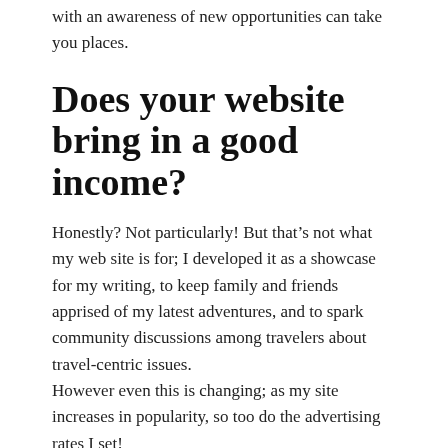with an awareness of new opportunities can take you places.
Does your website bring in a good income?
Honestly? Not particularly! But that’s not what my web site is for; I developed it as a showcase for my writing, to keep family and friends apprised of my latest adventures, and to spark community discussions among travelers about travel-centric issues.
However even this is changing; as my site increases in popularity, so too do the advertising rates I set!
Do you think it still possible to make a decent